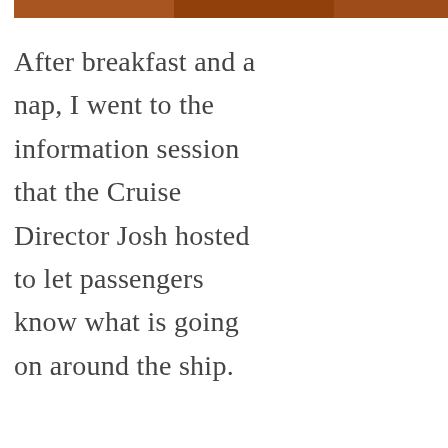[Figure (photo): Top partial image strip showing warm-toned photo, partially cropped at top of page]
After breakfast and a nap, I went to the information session that the Cruise Director Josh hosted to let passengers know what is going on around the ship.
[Figure (infographic): Side panel with heart icon button (teal circle), count '1', and share icon (circle with share symbol)]
[Figure (infographic): What's Next panel with thumbnail image and text 'WHAT'S NEXT → BBQ Chip Shake and...']
[Figure (photo): Bottom partial photo showing red industrial/ship interior elements]
[Figure (screenshot): Ad banner with dark grey background, rainbow illustration and '#ViralKindness' text, with close X button]